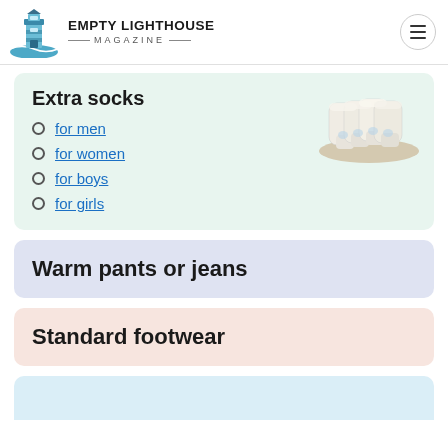EMPTY LIGHTHOUSE MAGAZINE
Extra socks
for men
for women
for boys
for girls
[Figure (photo): A stack of white ankle socks]
Warm pants or jeans
Standard footwear